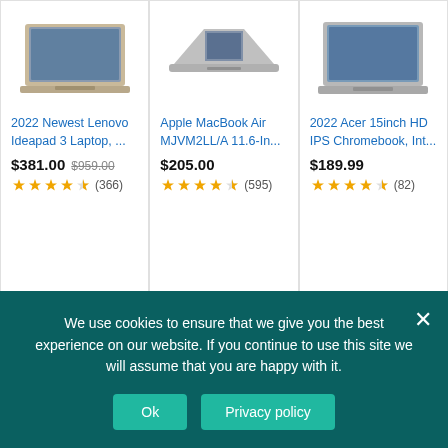[Figure (photo): Lenovo Ideapad 3 laptop product photo - silver/champagne color]
2022 Newest Lenovo Ideapad 3 Laptop, ...
$381.00  $959.00  ★★★★½ (366)
[Figure (photo): Apple MacBook Air MJVM2LL/A laptop product photo - silver thin profile]
Apple MacBook Air MJVM2LL/A 11.6-In...
$205.00  ★★★★½ (595)
[Figure (photo): Acer 15inch HD IPS Chromebook laptop product photo - silver]
2022 Acer 15inch HD IPS Chromebook, Int...
$189.99  ★★★★½ (82)
[Figure (photo): HP 14 HD laptop in pink/rose gold with Windows 11 screen]
Newest HP 14" HD
[Figure (photo): HP 14 HD laptop in blue/slate with Windows 11 screen]
Newest HP 14" HD
[Figure (photo): Gateway laptop/tablet convertible in teal/blue color]
Newest Gateway
We use cookies to ensure that we give you the best experience on our website. If you continue to use this site we will assume that you are happy with it.
Ok
Privacy policy